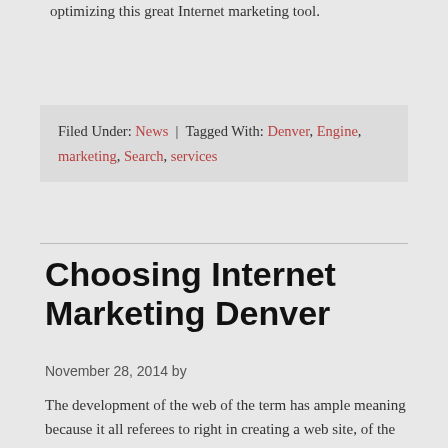optimizing this great Internet marketing tool.
Filed Under: News | Tagged With: Denver, Engine, marketing, Search, services
Choosing Internet Marketing Denver
November 28, 2014 by
The development of the web of the term has ample meaning because it all referees to right in creating a web site, of the graphical design is including to the programming making the content and the continuation...